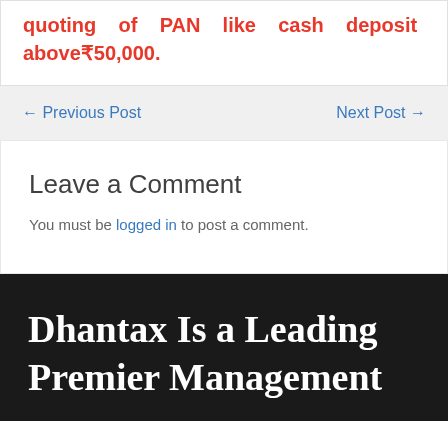quoting of PAN like cash deposit above₹50,000.
← Previous Post    Next Post →
Leave a Comment
You must be logged in to post a comment.
Dhantax Is a Leading Premier Management